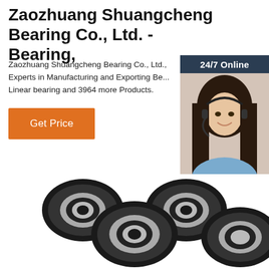Zaozhuang Shuangcheng Bearing Co., Ltd. - Bearing,
Zaozhuang Shuangcheng Bearing Co., Ltd., Experts in Manufacturing and Exporting Bearing, Linear bearing and 3964 more Products.
[Figure (screenshot): Orange 'Get Price' button]
[Figure (photo): 24/7 Online customer service representative chat widget with header '24/7 Online', photo of smiling woman with headset, footer text 'Click here for free chat!', and orange QUOTATION button]
[Figure (photo): Multiple black rubber-sealed ball bearings arranged in a group on white background]